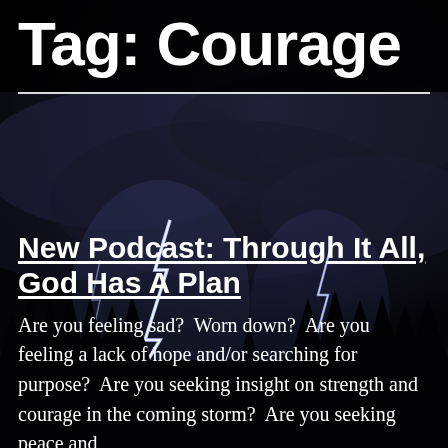Tag: Courage
[Figure (photo): Dark stormy sky with lightning strikes and silhouetted trees at the bottom, dramatic nighttime storm scene]
New Podcast: Through It All, God Has A Plan
Are you feeling sad?  Worn down?  Are you feeling a lack of hope and/or searching for purpose?  Are you seeking insight on strength and courage in the coming storm?  Are you seeking peace and